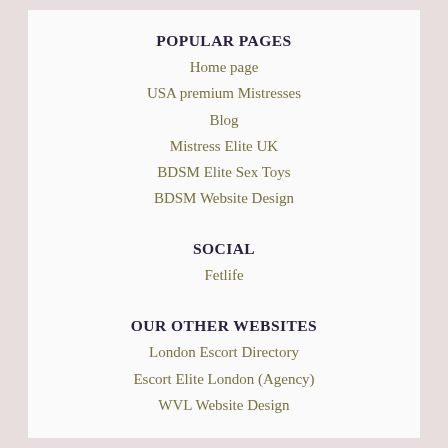POPULAR PAGES
Home page
USA premium Mistresses
Blog
Mistress Elite UK
BDSM Elite Sex Toys
BDSM Website Design
SOCIAL
Fetlife
OUR OTHER WEBSITES
London Escort Directory
Escort Elite London (Agency)
WVL Website Design